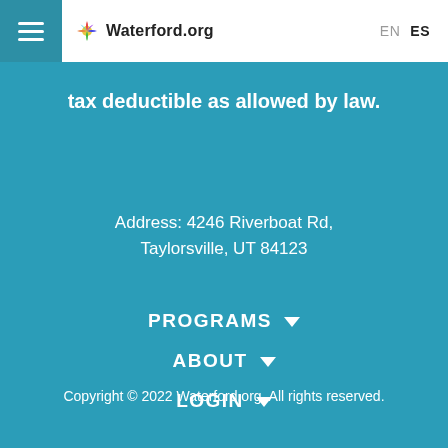Waterford.org — EN / ES
tax deductible as allowed by law.
Address: 4246 Riverboat Rd, Taylorsville, UT 84123
PROGRAMS
ABOUT
LOGIN
Copyright © 2022 Waterford.org. All rights reserved.